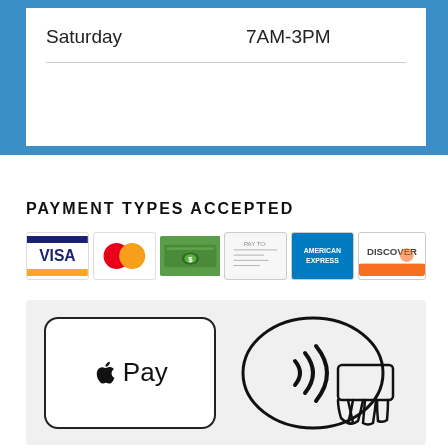| Saturday | 7AM-3PM |
PAYMENT TYPES ACCEPTED
[Figure (infographic): Row of payment method icons: Visa, MasterCard, Cash, Check, American Express, Discover]
[Figure (infographic): Apple Pay logo and contactless payment symbol (NFC tap-to-pay icon)]